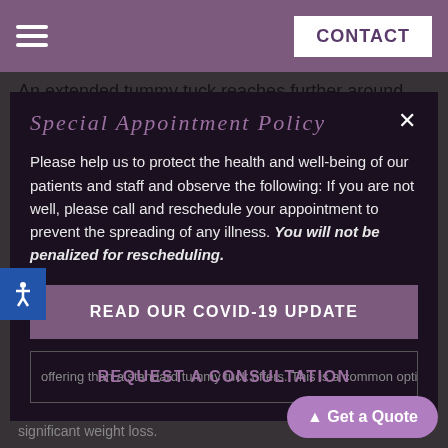CONTACT
An extended tummy tuck reaches further around the midsection to tighten skin and remove fat on the flanks and past the hips.
SPECIAL APPOINTMENT POLICY
Please help us to protect the health and well-being of our patients and staff and observe the following: If you are not well, please call and reschedule your appointment to prevent the spreading of any illness. You will not be penalized for rescheduling.
READ OUR COVID-19 UPDATE
REQUEST A CONSULTATION
offering more than a standard tummy tuck offers. This is a common option for people with significant weight loss.
↑ Get a Quote